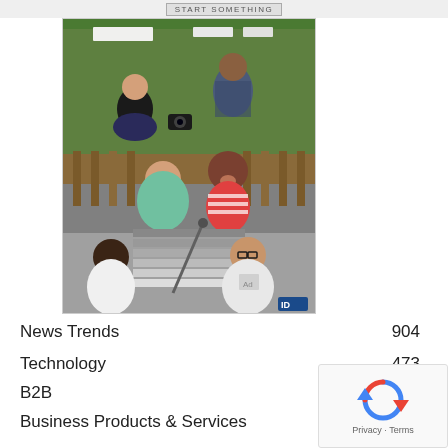[Figure (photo): A collage-style photo showing groups of young people outdoors and on steps, with a 'Start Something' button element at the top]
News Trends    904
Technology    473
B2B
Business Products & Services